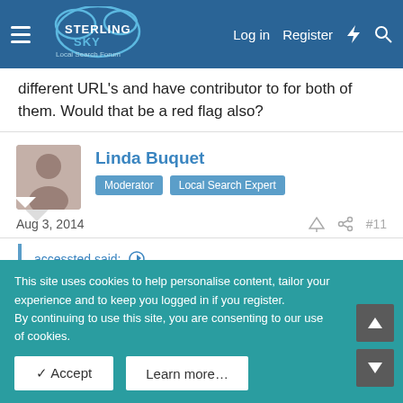Sterling Sky Local Search Forum — Log in | Register
different URL's and have contributor to for both of them. Would that be a red flag also?
Linda Buquet — Moderator, Local Search Expert
Aug 3, 2014  #11
accessted said: If I am reading this correctly, this means that you should not have 2 different websites in your Google + profile. Is this correct? If so how...
This site uses cookies to help personalise content, tailor your experience and to keep you logged in if you register.
By continuing to use this site, you are consenting to our use of cookies.